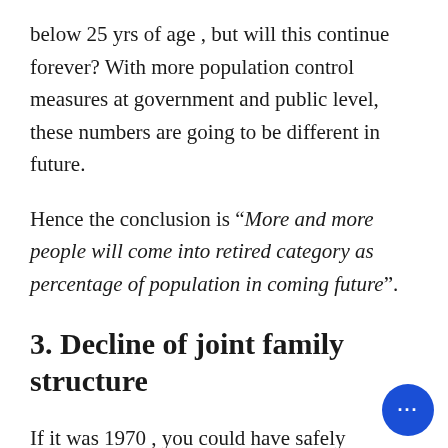below 25 yrs of age , but will this continue forever? With more population control measures at government and public level, these numbers are going to be different in future.
Hence the conclusion is “More and more people will come into retired category as percentage of population in coming future”.
3. Decline of joint family structure
If it was 1970 , you could have safely assumed t